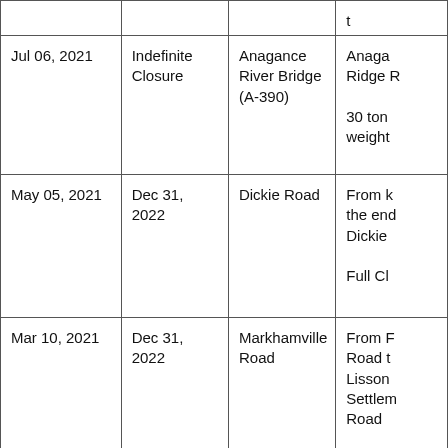|  |  |  | t |
| Jul 06, 2021 | Indefinite Closure | Anagance River Bridge (A-390) | Anagance Ridge R...

30 ton weight... |
| May 05, 2021 | Dec 31, 2022 | Dickie Road | From k... the end... Dickie...

Full Cl... |
| Mar 10, 2021 | Dec 31, 2022 | Markhamville Road | From F... Road t... Lisson... Settlem... Road

Closed... |